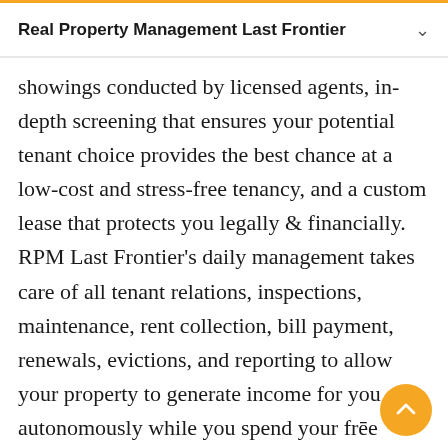Real Property Management Last Frontier
showings conducted by licensed agents, in-depth screening that ensures your potential tenant choice provides the best chance at a low-cost and stress-free tenancy, and a custom lease that protects you legally & financially. RPM Last Frontier's daily management takes care of all tenant relations, inspections, maintenance, rent collection, bill payment, renewals, evictions, and reporting to allow your property to generate income for you autonomously while you spend your free